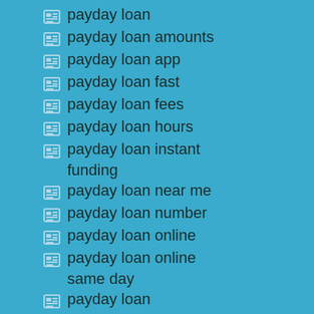payday loan
payday loan amounts
payday loan app
payday loan fast
payday loan fees
payday loan hours
payday loan instant funding
payday loan near me
payday loan number
payday loan online
payday loan online same day
payday loan requirements
payday loan same day funding